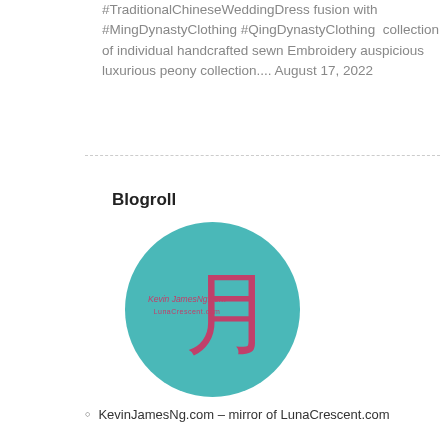#TraditionalChineseWeddingDress fusion with #MingDynastyClothing #QingDynastyClothing collection of individual handcrafted sewn Embroidery auspicious luxurious peony collection.... August 17, 2022
Blogroll
[Figure (logo): Circular teal/turquoise logo with a large pink Chinese character for moon (月) and smaller pink text reading 'Kevin JamesNg.com' and 'LunaCrescent.com']
KevinJamesNg.com – mirror of LunaCrescent.com